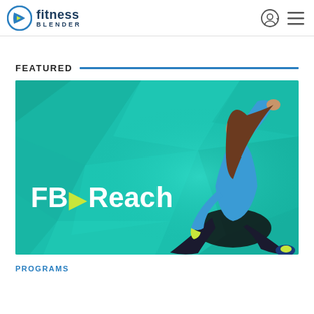fitness blender
FEATURED
[Figure (illustration): FB Reach program banner — woman in blue athletic wear doing a stretch on a teal geometric background, with white bold text 'FB Reach' and a yellow-green play arrow]
PROGRAMS